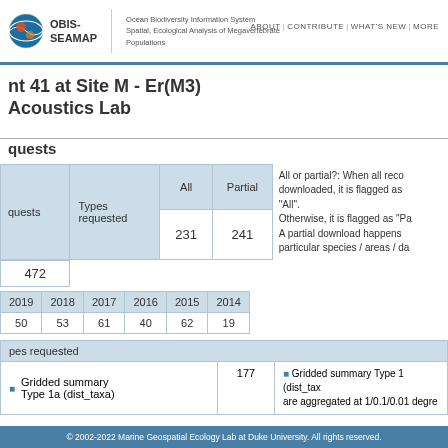OBIS-SEAMAP | Ocean Biodiversity Information System Spatial, Ecological Analysis of Megavertebrate Populations | ABOUT | CONTRIBUTE | WHAT'S NEW | MORE
nt 41 at Site M - Er(M3)
Acoustics Lab
quests
| quests | Types requested | All | Partial |
| --- | --- | --- | --- |
| 472 |  | 231 | 241 |
All or partial?: When all records are downloaded, it is flagged as "All". Otherwise, it is flagged as "Partial". A partial download happens when particular species / areas / da...
| 2019 | 2018 | 2017 | 2016 | 2015 | 2014 |
| --- | --- | --- | --- | --- | --- |
| 50 | 53 | 61 | 40 | 62 | 19 |
| pes requested |  |
| --- | --- |
| Gridded summary Type 1a (dist_taxa) | 177 | Gridded summary Type 1 (dist_taxa) are aggregated at 1/0.1/0.01 degre... |
© 2002-2022 Marine Geospatial Ecology Lab at Duke University. All rights reserved.